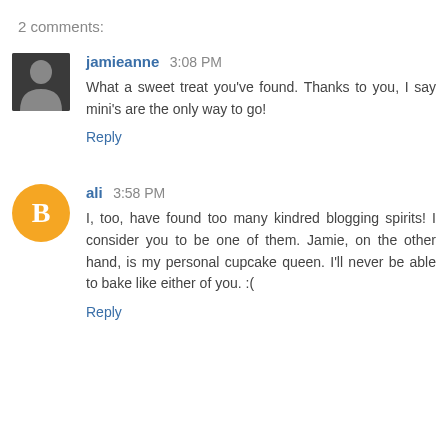2 comments:
jamieanne 3:08 PM
What a sweet treat you've found. Thanks to you, I say mini's are the only way to go!
Reply
ali 3:58 PM
I, too, have found too many kindred blogging spirits! I consider you to be one of them. Jamie, on the other hand, is my personal cupcake queen. I'll never be able to bake like either of you. :(
Reply